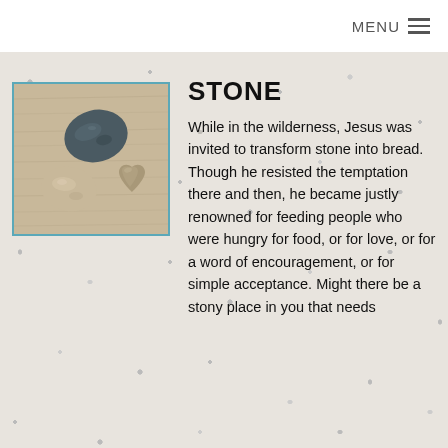MENU ≡
[Figure (photo): Three smooth stones resting on a wooden surface: one dark grey/blue stone on top, one beige/cream stone on the lower left, and one tan/brown stone on the lower right.]
STONE
While in the wilderness, Jesus was invited to transform stone into bread. Though he resisted the temptation there and then, he became justly renowned for feeding people who were hungry for food, or for love, or for a word of encouragement, or for simple acceptance. Might there be a stony place in you that needs